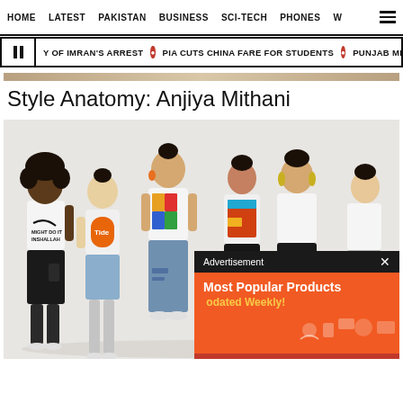HOME  LATEST  PAKISTAN  BUSINESS  SCI-TECH  PHONES  W
Y OF IMRAN'S ARREST  •  PIA CUTS CHINA FARE FOR STUDENTS  •  PUNJAB MINIS
Style Anatomy: Anjiya Mithani
[Figure (photo): Group of seven fashion models in casual streetwear poses against white background. One male model wears a 'MIGHT DO IT INSHALLAH' Nike-style white tee with black shorts. Other models wear graphic tees, denim shorts, and colorful outfits. An advertisement overlay appears in the bottom-right corner: dark bar reading 'Advertisement x' with orange background below showing 'Most Popular Products Updated Weekly!' with product icons.]